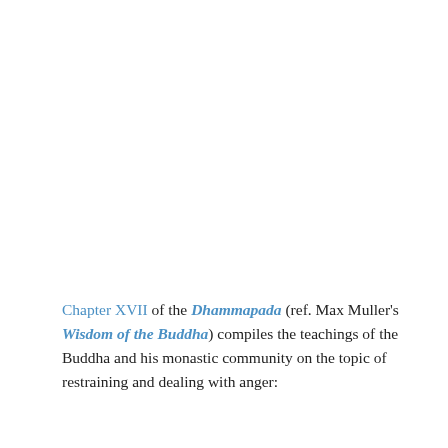Chapter XVII of the Dhammapada (ref. Max Muller's Wisdom of the Buddha) compiles the teachings of the Buddha and his monastic community on the topic of restraining and dealing with anger: